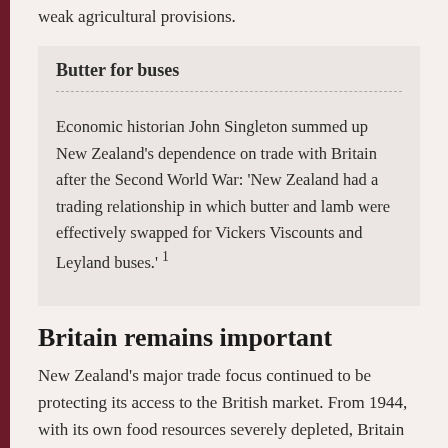weak agricultural provisions.
Butter for buses
Economic historian John Singleton summed up New Zealand's dependence on trade with Britain after the Second World War: 'New Zealand had a trading relationship in which butter and lamb were effectively swapped for Vickers Viscounts and Leyland buses.' 1
Britain remains important
New Zealand's major trade focus continued to be protecting its access to the British market. From 1944, with its own food resources severely depleted, Britain